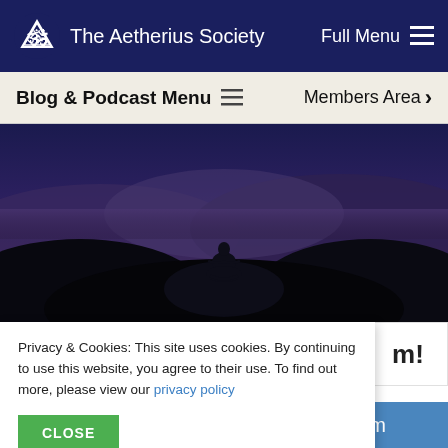The Aetherius Society   Full Menu
Blog & Podcast Menu   Members Area
[Figure (photo): Silhouette of a person meditating in lotus position on a hilltop against a dark blue twilight sky with mountains in the background.]
m!
Privacy & Cookies: This site uses cookies. By continuing to use this website, you agree to their use. To find out more, please view our privacy policy
CLOSE
wisdom